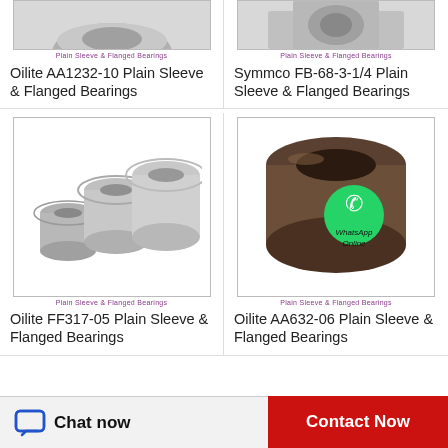[Figure (photo): Cropped top portion of Oilite AA1232-10 plain sleeve and flanged bearings product image with label 'Plain Sleeve & Flanged Bearings']
Oilite AA1232-10 Plain Sleeve & Flanged Bearings
[Figure (photo): Cropped top portion of Symmco FB-68-3-1/4 plain sleeve and flanged bearings product image with label 'Plain Sleeve & Flanged Bearings']
Symmco FB-68-3-1/4 Plain Sleeve & Flanged Bearings
[Figure (photo): Oilite FF317-05 flanged sleeve bearings - three metal cylindrical pieces with flanges, labeled 'Plain Sleeve & Flanged Bearings']
Oilite FF317-05 Plain Sleeve & Flanged Bearings
[Figure (photo): Oilite AA632-06 plain sleeve bearing - dark bronze cylindrical bushing with WhatsApp Online overlay, labeled 'Plain Sleeve & Flanged Bearings']
Oilite AA632-06 Plain Sleeve & Flanged Bearings
Chat now
Contact Now